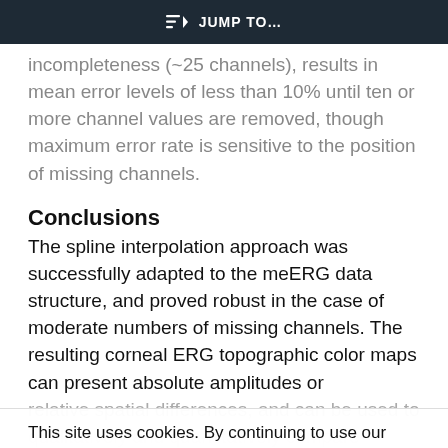JUMP TO...
incompleteness (~25 channels), results in mean error levels of less than 10% until ten or more channel values are removed, though maximum error rate is sensitive to the position of missing channels.
Conclusions
The spline interpolation approach was successfully adapted to the meERG data structure, and proved robust in the case of moderate numbers of missing channels. The resulting corneal ERG topographic color maps can present absolute amplitudes or relative spatial differences, and can be used to qualitatively and quantitatively compare results from healthy and unhealthy eyes.
This site uses cookies. By continuing to use our website, you are agreeing to our privacy policy. Accept